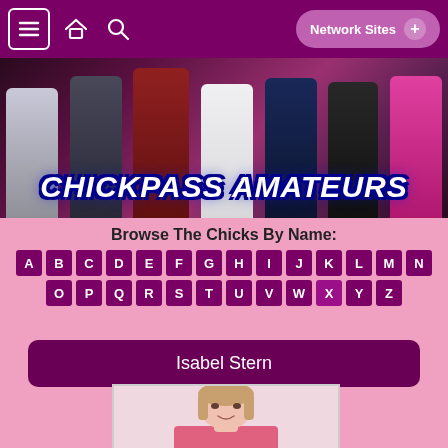Navigation bar with menu, home, search icons and Network Sites button
[Figure (photo): Banner image showing multiple women with text overlay 'CHICKPASS AMATEURS']
CHICKPASS AMATEURS
Browse The Chicks By Name:
A B C D E F G H I J K L M N O P Q R S T U V W X Y Z
Isabel Stern
[Figure (photo): Profile photo of Isabel Stern, a young woman with light brown/blonde hair wearing a pink blazer]